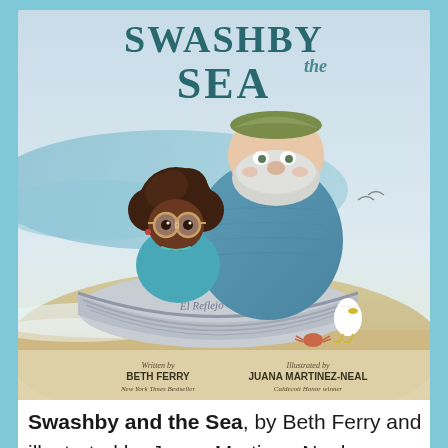[Figure (illustration): Book cover of 'Swashby and the Sea' showing an illustrated old bearded fisherman in a blue knit sweater and olive hat sitting in a small wooden boat named 'El Reflejo' on a sandy beach, with a curly-haired young girl wearing round glasses beside him, seagulls nearby. Title text at top reads 'SWASHBY the SEA'. Bottom of cover reads 'Written by BETH FERRY New York Times Bestseller' and 'Illustrated by JUANA MARTINEZ-NEAL Caldecott Honor winner'.]
Swashby and the Sea, by Beth Ferry and illustrated by Juana Martinez-Neal